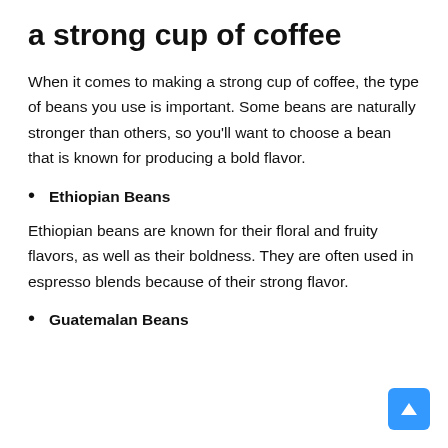a strong cup of coffee
When it comes to making a strong cup of coffee, the type of beans you use is important. Some beans are naturally stronger than others, so you'll want to choose a bean that is known for producing a bold flavor.
Ethiopian Beans
Ethiopian beans are known for their floral and fruity flavors, as well as their boldness. They are often used in espresso blends because of their strong flavor.
Guatemalan Beans